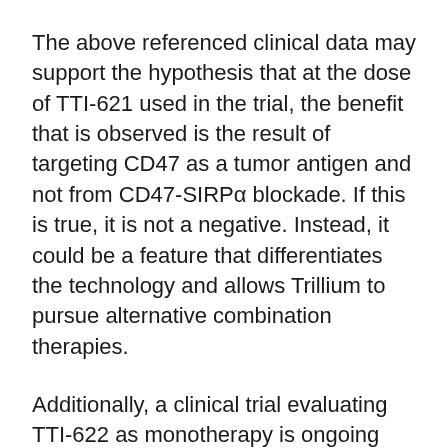The above referenced clinical data may support the hypothesis that at the dose of TTI-621 used in the trial, the benefit that is observed is the result of targeting CD47 as a tumor antigen and not from CD47-SIRPα blockade. If this is true, it is not a negative. Instead, it could be a feature that differentiates the technology and allows Trillium to pursue alternative combination therapies.
Additionally, a clinical trial evaluating TTI-622 as monotherapy is ongoing and interim data shows that TTI-622 is well tolerated. Doses of up 18 mg/kg have been administered and Phase 1b/2 studies will start at 8mg/kg. Since the maximum dose of TTI-622 is much greater than the maximum dose of TTI-621, it is possible that TTI-622 is able to achieve a